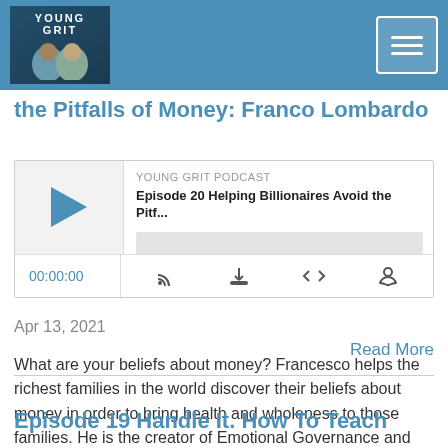Young Grit Podcast header with logo and navigation menu
the Pitfalls of Money: Franco Lombardo
[Figure (screenshot): Podcast audio player widget showing Young Grit Podcast, Episode 20 Helping Billionaires Avoid the Pitf..., with play button, progress bar, time display 00:00:00, and player controls]
Apr 13, 2021
What are your beliefs about money? Francesco helps the richest families in the world discover their beliefs about money in order to bring health and wholeness to those families. He is the creator of Emotional Governance and the author of SafeSpace. He believes Organized Emotional Governance
Read More
Episode 19 Handle It. How To Teach